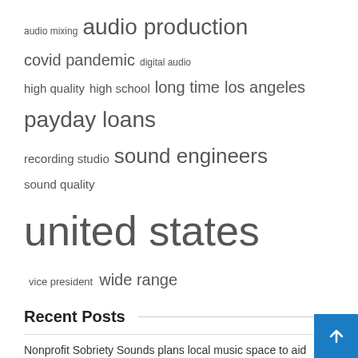audio mixing  audio production  covid pandemic  digital audio  high quality  high school  long time  los angeles  payday loans  recording studio  sound engineers  sound quality  united states  vice president  wide range
Recent Posts
Nonprofit Sobriety Sounds plans local music space to aid recovery
Crist defends the abortion file and defines the “pro-life” position
Dodge Charger Daytona SRT Concept Teases Upcoming Electric Muscle Cars
Is the future here? Sonible’s AI-powered Smart:comp 2 is here –
Alex Kerns goes technical at the Palace Theater